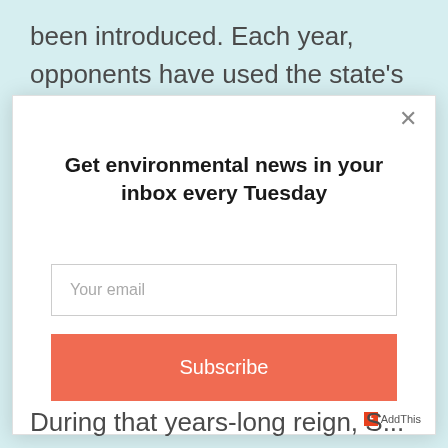been introduced. Each year, opponents have used the state's existing recycling program as a talking point to
[Figure (screenshot): Modal popup overlay with title 'Get environmental news in your inbox every Tuesday', an email input field with placeholder 'Your email', and an orange 'Subscribe' button. A close (×) button appears in the top-right corner. An AddThis badge appears in the bottom-right corner.]
During that years-long reign, S...